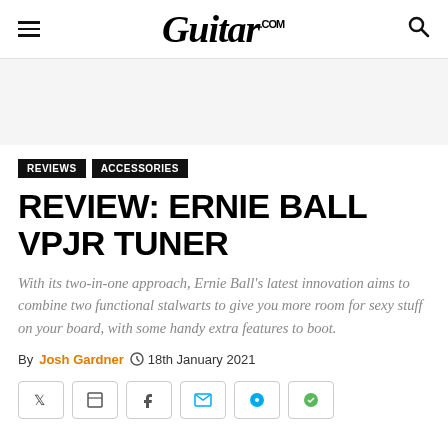Guitar.com
REVIEWS
ACCESSORIES
REVIEW: ERNIE BALL VPJR TUNER
With its two-in-one approach, Ernie Ball's latest innovation aims to combine two functional stalwarts to give you more room for sexy stuff on your board, with some handy extra features to boot.
By Josh Gardner  18th January 2021